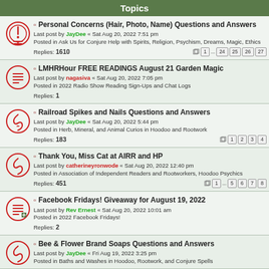Topics
Personal Concerns (Hair, Photo, Name) Questions and Answers
Last post by JayDee « Sat Aug 20, 2022 7:51 pm
Posted in Ask Us for Conjure Help with Spirits, Religion, Psychism, Dreams, Magic, Ethics
Replies: 1610
LMHRHour FREE READINGS August 21 Garden Magic
Last post by nagasiva « Sat Aug 20, 2022 7:05 pm
Posted in 2022 Radio Show Reading Sign-Ups and Chat Logs
Replies: 1
Railroad Spikes and Nails Questions and Answers
Last post by JayDee « Sat Aug 20, 2022 5:44 pm
Posted in Herb, Mineral, and Animal Curios in Hoodoo and Rootwork
Replies: 183
Thank You, Miss Cat at AIRR and HP
Last post by catherineyronwode « Sat Aug 20, 2022 12:40 pm
Posted in Association of Independent Readers and Rootworkers, Hoodoo Psychics
Replies: 451
Facebook Fridays! Giveaway for August 19, 2022
Last post by Rev Ernest « Sat Aug 20, 2022 10:01 am
Posted in 2022 Facebook Fridays!
Replies: 2
Bee & Flower Brand Soaps Questions and Answers
Last post by JayDee « Fri Aug 19, 2022 3:25 pm
Posted in Baths and Washes in Hoodoo, Rootwork, and Conjure Spells